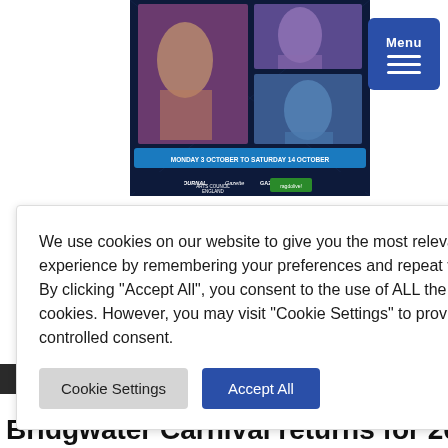[Figure (photo): Carnival event poster with costumed performers, logos for Journal and Gazette newspapers, Arts Council England, and event dates Monday 3 October to Saturday 14 October]
[Figure (screenshot): Blue Menu button with hamburger icon in top right corner]
We use cookies on our website to give you the most relevant experience by remembering your preferences and repeat visits. By clicking "Accept All", you consent to the use of ALL the cookies. However, you may visit "Cookie Settings" to provide a controlled consent.
Cookie Settings   Accept All
Bridgwater Carnival returns for 2022